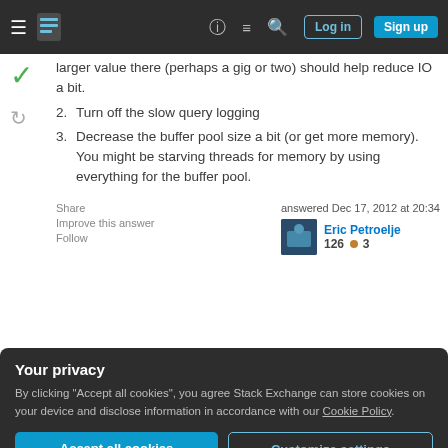Stack Exchange navigation bar with Log in and Sign up buttons
larger value there (perhaps a gig or two) should help reduce IO a bit.
2. Turn off the slow query logging
3. Decrease the buffer pool size a bit (or get more memory). You might be starving threads for memory by using everything for the buffer pool.
Share   Improve this answer   Follow   answered Dec 17, 2012 at 20:34   Eric Petroelje   126 🥉 3
Your privacy
By clicking "Accept all cookies", you agree Stack Exchange can store cookies on your device and disclose information in accordance with our Cookie Policy.
suggestions I made will help a bit, but I wouldn't expect